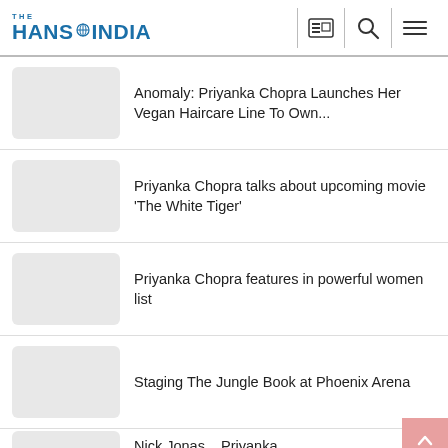THE HANS INDIA
Anomaly: Priyanka Chopra Launches Her Vegan Haircare Line To Own...
Priyanka Chopra talks about upcoming movie 'The White Tiger'
Priyanka Chopra features in powerful women list
Staging The Jungle Book at Phoenix Arena
Nick Jonas... Priyanka...